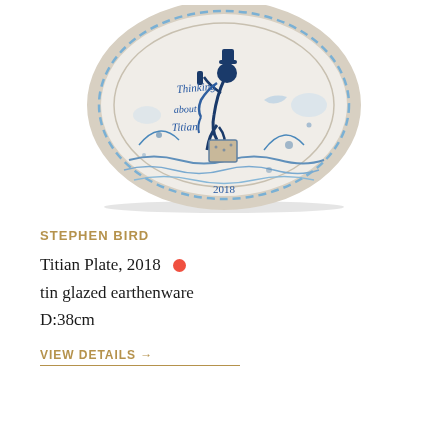[Figure (photo): A blue and white tin glazed earthenware decorative plate featuring a seated figure painted in blue on a white background, with text reading 'Thinking about Titian' and the date '2018' inscribed on it.]
STEPHEN BIRD
Titian Plate, 2018 •
tin glazed earthenware
D:38cm
VIEW DETAILS →